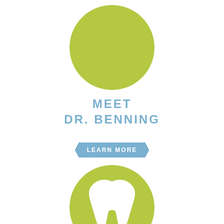[Figure (illustration): Large olive-green circle serving as a placeholder for a doctor photo]
MEET DR. BENNING
[Figure (illustration): Blue rounded hexagon button with text LEARN MORE]
[Figure (illustration): Olive-green circle with a white tooth icon inside]